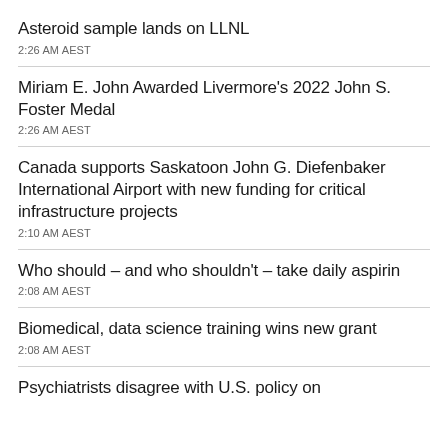Asteroid sample lands on LLNL
2:26 AM AEST
Miriam E. John Awarded Livermore's 2022 John S. Foster Medal
2:26 AM AEST
Canada supports Saskatoon John G. Diefenbaker International Airport with new funding for critical infrastructure projects
2:10 AM AEST
Who should – and who shouldn't – take daily aspirin
2:08 AM AEST
Biomedical, data science training wins new grant
2:08 AM AEST
Psychiatrists disagree with U.S. policy on